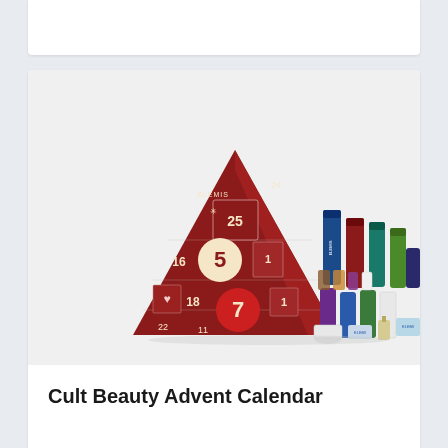[Figure (photo): Photo of an Elemis advent calendar shaped like a Christmas tree in red packaging with numbered doors (showing numbers 25, 16, 5, 18, 7, 1, etc.), displayed alongside a collection of Elemis skincare product tubes and bottles in various colors (blue, red, green, teal, purple, white).]
Cult Beauty Advent Calendar